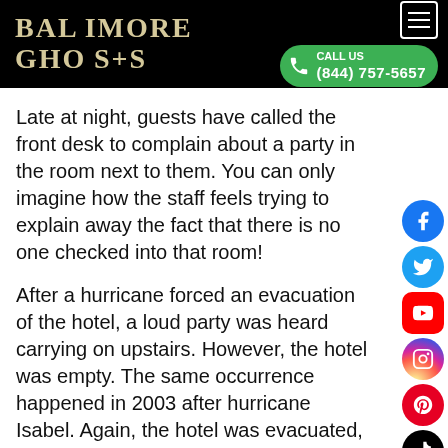[Figure (logo): Baltimore Ghosts logo with stylized gothic text on black background]
CALL US (844) 757-5657
Late at night, guests have called the front desk to complain about a party in the room next to them. You can only imagine how the staff feels trying to explain away the fact that there is no one checked into that room!
After a hurricane forced an evacuation of the hotel, a loud party was heard carrying on upstairs. However, the hotel was empty. The same occurrence happened in 2003 after hurricane Isabel. Again, the hotel was evacuated, and the manager was stumped.